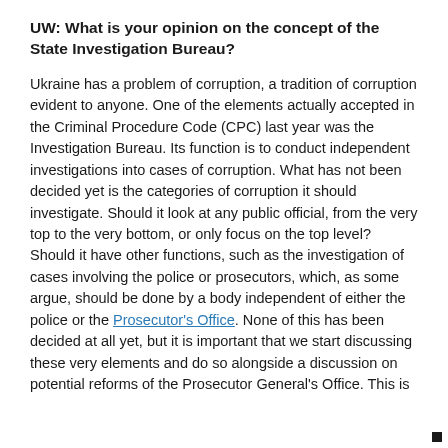UW: What is your opinion on the concept of the State Investigation Bureau?
Ukraine has a problem of corruption, a tradition of corruption evident to anyone. One of the elements actually accepted in the Criminal Procedure Code (CPC) last year was the Investigation Bureau. Its function is to conduct independent investigations into cases of corruption. What has not been decided yet is the categories of corruption it should investigate. Should it look at any public official, from the very top to the very bottom, or only focus on the top level? Should it have other functions, such as the investigation of cases involving the police or prosecutors, which, as some argue, should be done by a body independent of either the police or the Prosecutor's Office. None of this has been decided at all yet, but it is important that we start discussing these very elements and do so alongside a discussion on potential reforms of the Prosecutor General's Office. This is